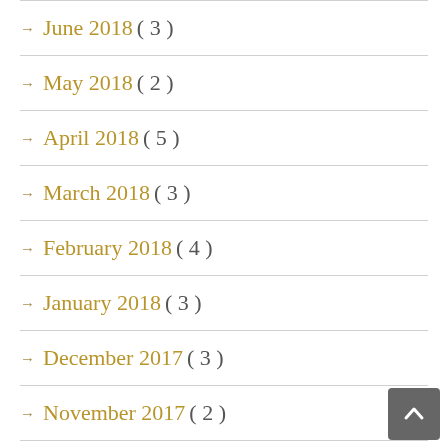→ June 2018 ( 3 )
→ May 2018 ( 2 )
→ April 2018 ( 5 )
→ March 2018 ( 3 )
→ February 2018 ( 4 )
→ January 2018 ( 3 )
→ December 2017 ( 3 )
→ November 2017 ( 2 )
→ October 2017 ( 4 )
→ September 2017 ( 1 )